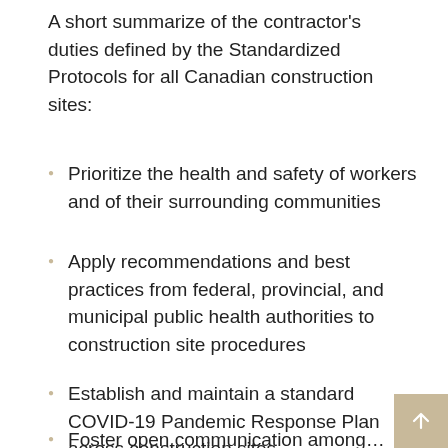A short summarize of the contractor's duties defined by the Standardized Protocols for all Canadian construction sites:
Prioritize the health and safety of workers and of their surrounding communities
Apply recommendations and best practices from federal, provincial, and municipal public health authorities to construction site procedures
Establish and maintain a standard COVID-19 Pandemic Response Plan across construction sites
Foster open communication among…